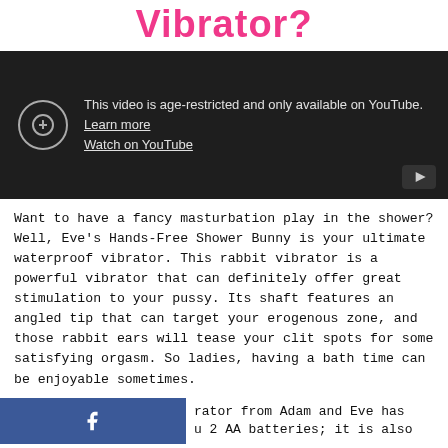Vibrator?
[Figure (screenshot): YouTube age-restricted video embed showing message: 'This video is age-restricted and only available on YouTube. Learn more' with 'Watch on YouTube' link and YouTube play button icon.]
Want to have a fancy masturbation play in the shower? Well, Eve's Hands-Free Shower Bunny is your ultimate waterproof vibrator. This rabbit vibrator is a powerful vibrator that can definitely offer great stimulation to your pussy. Its shaft features an angled tip that can target your erogenous zone, and those rabbit ears will tease your clit spots for some satisfying orgasm. So ladies, having a bath time can be enjoyable sometimes.
rator from Adam and Eve has u 2 AA batteries; it is also